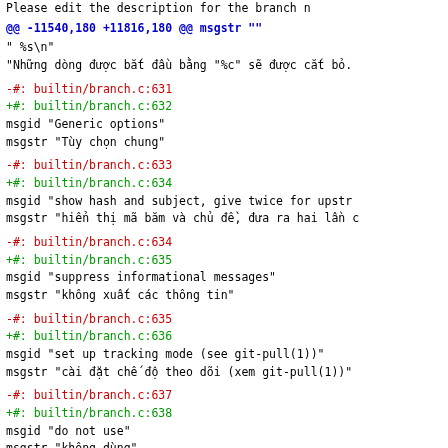Please edit the description for the branch n
@@ -11540,180 +11816,180 @@ msgstr ""
"  %s\n"
"Những dòng được bắt đầu bằng "%c" sẽ được cắt bỏ.
-#: builtin/branch.c:631
+#: builtin/branch.c:632
 msgid "Generic options"
 msgstr "Tùy chọn chung"
-#: builtin/branch.c:633
+#: builtin/branch.c:634
 msgid "show hash and subject, give twice for upstr"
 msgstr "hiển thị mã băm và chủ đề, đưa ra hai lần c"
-#: builtin/branch.c:634
+#: builtin/branch.c:635
 msgid "suppress informational messages"
 msgstr "không xuất các thông tin"
-#: builtin/branch.c:635
+#: builtin/branch.c:636
 msgid "set up tracking mode (see git-pull(1))"
 msgstr "cài đặt chế độ theo dõi (xem git-pull(1))"
-#: builtin/branch.c:637
+#: builtin/branch.c:638
 msgid "do not use"
 msgstr "không dùng"